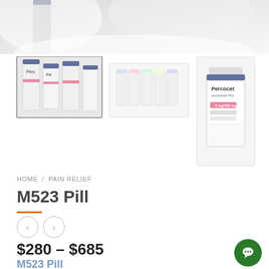[Figure (photo): Top portion of a photo showing white pill bottles/medication on a soft white surface]
[Figure (photo): Three thumbnail images of Percocet pill bottles — close-up of labels, group of bottles, single bottle]
HOME / PAIN RELIEF
M523 Pill
$280 – $685
M523 Pill
The intention of a short-term opioid medication like M523